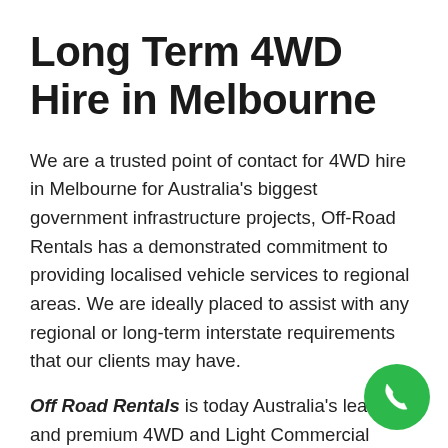Long Term 4WD Hire in Melbourne
We are a trusted point of contact for 4WD hire in Melbourne for Australia's biggest government infrastructure projects, Off-Road Rentals has a demonstrated commitment to providing localised vehicle services to regional areas. We are ideally placed to assist with any regional or long-term interstate requirements that our clients may have.
Off Road Rentals is today Australia's leading and premium 4WD and Light Commercial Vehicle (LCV) Rental Companies, a company totally committed to service and the fulfilment of our clients' requirements. As a Company, we offer a
[Figure (other): Green circular phone call button in the bottom right corner]